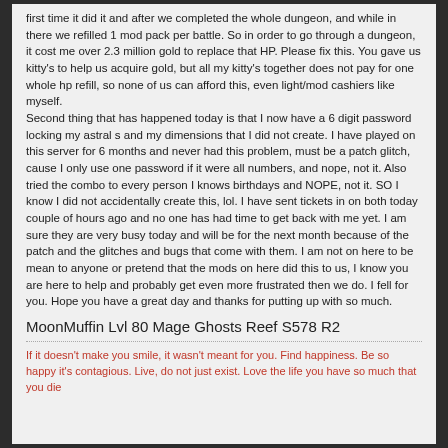first time it did it and after we completed the whole dungeon, and while in there we refilled 1 mod pack per battle. So in order to go through a dungeon, it cost me over 2.3 million gold to replace that HP. Please fix this. You gave us kitty's to help us acquire gold, but all my kitty's together does not pay for one whole hp refill, so none of us can afford this, even light/mod cashiers like myself. Second thing that has happened today is that I now have a 6 digit password locking my astral s and my dimensions that I did not create. I have played on this server for 6 months and never had this problem, must be a patch glitch, cause I only use one password if it were all numbers, and nope, not it. Also tried the combo to every person I knows birthdays and NOPE, not it. SO I know I did not accidentally create this, lol. I have sent tickets in on both today couple of hours ago and no one has had time to get back with me yet. I am sure they are very busy today and will be for the next month because of the patch and the glitches and bugs that come with them. I am not on here to be mean to anyone or pretend that the mods on here did this to us, I know you are here to help and probably get even more frustrated then we do. I fell for you. Hope you have a great day and thanks for putting up with so much.
MoonMuffin Lvl 80 Mage Ghosts Reef S578 R2
If it doesn't make you smile, it wasn't meant for you. Find happiness. Be so happy it's contagious. Live, do not just exist. Love the life you have so much that you die